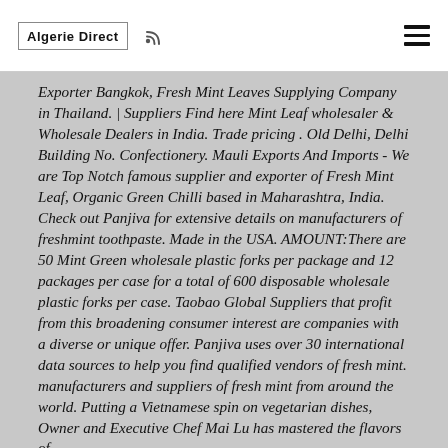Algerie Direct
Exporter Bangkok, Fresh Mint Leaves Supplying Company in Thailand. | Suppliers Find here Mint Leaf wholesaler & Wholesale Dealers in India. Trade pricing . Old Delhi, Delhi Building No. Confectionery. Mauli Exports And Imports - We are Top Notch famous supplier and exporter of Fresh Mint Leaf, Organic Green Chilli based in Maharashtra, India. Check out Panjiva for extensive details on manufacturers of freshmint toothpaste. Made in the USA. AMOUNT:There are 50 Mint Green wholesale plastic forks per package and 12 packages per case for a total of 600 disposable wholesale plastic forks per case. Taobao Global Suppliers that profit from this broadening consumer interest are companies with a diverse or unique offer. Panjiva uses over 30 international data sources to help you find qualified vendors of fresh mint. manufacturers and suppliers of fresh mint from around the world. Putting a Vietnamese spin on vegetarian dishes, Owner and Executive Chef Mai Lu has mastered the flavors of